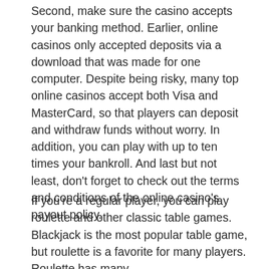Second, make sure the casino accepts your banking method. Earlier, online casinos only accepted deposits via a download that was made for one computer. Despite being risky, many top online casinos accept both Visa and MasterCard, so that players can deposit and withdraw funds without worry. In addition, you can play with up to ten times your bankroll. And last but not least, don't forget to check out the terms and conditions of the online casino's payout policy.
If you're a regular player, you can play roulette and other classic table games. Blackjack is the most popular table game, but roulette is a favorite for many players. Roulette has many